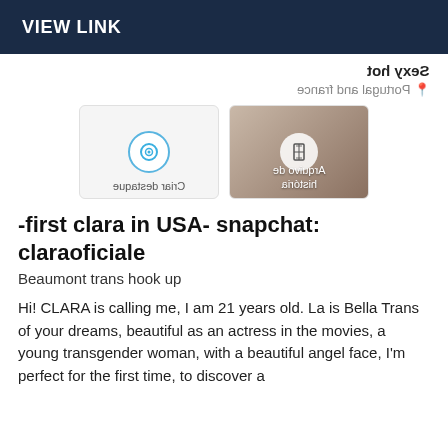VIEW LINK
Sexy hot
Portugal and france
[Figure (screenshot): Two UI cards side by side: left card shows a circular loading/eye icon with mirrored label 'Criar destaque'; right card shows a photo of a woman with a mirrored overlay text 'Arquivo de história' and an hourglass icon.]
-first clara in USA- snapchat: claraoficiale
Beaumont trans hook up
Hi! CLARA is calling me, I am 21 years old. La is Bella Trans of your dreams, beautiful as an actress in the movies, a young transgender woman, with a beautiful angel face, I'm perfect for the first time, to discover a